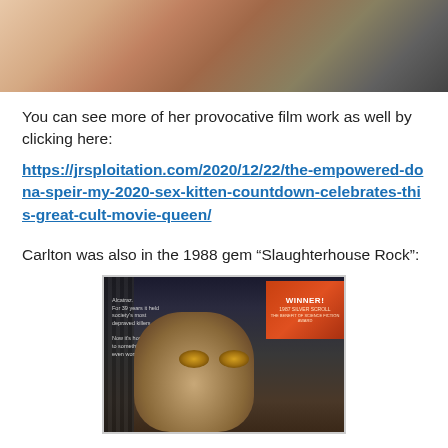[Figure (photo): Partial photo showing legs and a microphone stand, warm skin tones against a grey background]
You can see more of her provocative film work as well by clicking here:
https://jrsploitation.com/2020/12/22/the-empowered-dona-speir-my-2020-sex-kitten-countdown-celebrates-this-great-cult-movie-queen/
Carlton was also in the 1988 gem “Slaughterhouse Rock”:
[Figure (photo): Movie poster for Slaughterhouse Rock showing a face with glowing eyes and a red banner saying WINNER! 1987 Silver Scroll Award. Text on left reads: Alcatraz. For 39 years it held society's most depraved killers. Now it's home to something even worse...]